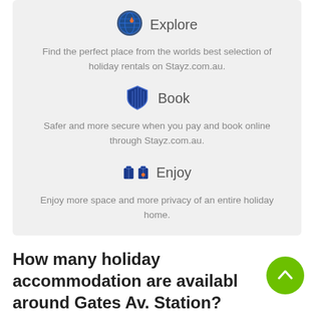[Figure (illustration): Explore icon: blue globe/compass circle icon]
Explore
Find the perfect place from the worlds best selection of holiday rentals on Stayz.com.au.
[Figure (illustration): Book icon: blue shield icon]
Book
Safer and more secure when you pay and book online through Stayz.com.au.
[Figure (illustration): Enjoy icon: blue luggage/briefcase icon]
Enjoy
Enjoy more space and more privacy of an entire holiday home.
How many holiday accommodation are available around Gates Av. Station?